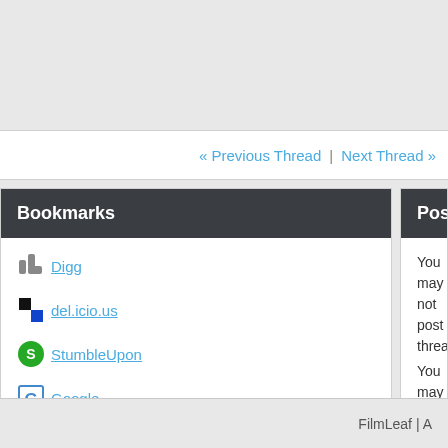« Previous Thread | Next Thread »
Bookmarks
Digg
del.icio.us
StumbleUpon
Google
Posting Permissi...
You may not post threads
You may not post
You may not post attachments
You may not edit your posts
FilmLeaf  |  ...